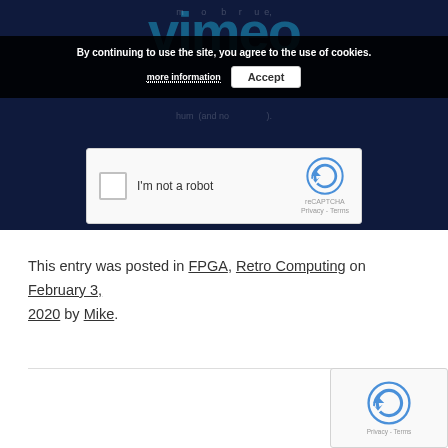[Figure (screenshot): Screenshot of a dark navy background with Vimeo logo text partially visible, overlaid by a cookie consent bar with 'By continuing to use the site, you agree to the use of cookies.' text and a 'more information' link and 'Accept' button, and a reCAPTCHA 'I'm not a robot' checkbox widget.]
This entry was posted in FPGA, Retro Computing on February 3, 2020 by Mike.
[Figure (screenshot): Partial reCAPTCHA widget visible in bottom-right corner showing the reCAPTCHA logo and 'Privacy - Terms' text.]